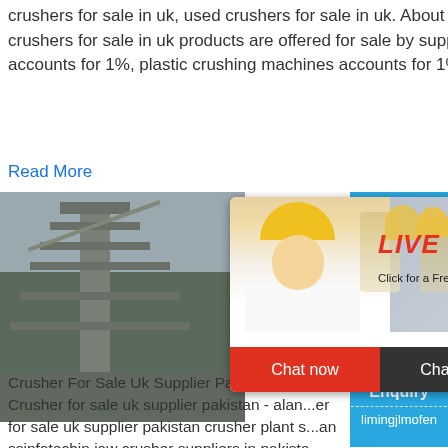crushers for sale in uk, used crushers for sale in uk. About product and suppliers: 1,648 used crushers for sale in uk products are offered for sale by suppliers on Alibaba, of which crusher accounts for 1%, plastic crushing machines accounts for 1%, and scrap metal shredders ...
Read More
[Figure (screenshot): Live chat popup overlay showing a woman with a yellow hard hat, workers in the background, with 'LIVE CHAT' in red italic text, 'Click for a Free Consultation', Chat now and Chat later buttons. Left side shows an industrial facility photo. Right side shows a cyan/blue sidebar with a crusher machine image, 'hour online', 'Click me to chat>>', 'Enquiry', and 'limingjlmofen' text.]
Crusher For Sale Uk Supplier Pakistan - help-t2d... Crusher for sale uk supplier pakistan - alan...er for sale uk supplier pakistan crusher plant s...an ssinfotechin jaw crusher suppliers in pakista... machine ball mill plant sale in uk stone crus... prejindal cement plant raigarh sone mining ... mills fro vertical shaft kilns.
Read More